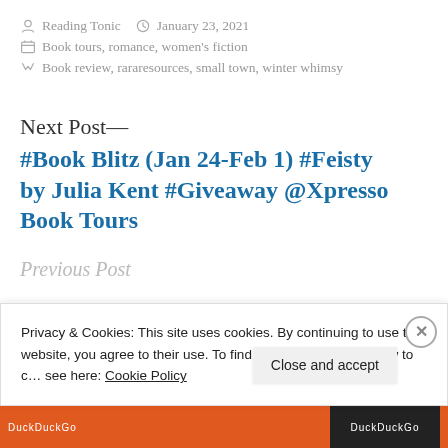Reading Tonic   January 23, 2021
Book tours, romance, women's fiction
Book review, rararesources, small town, winter whimsy
Next Post—
#Book Blitz (Jan 24-Feb 1) #Feisty by Julia Kent #Giveaway @Xpresso Book Tours
Previous Post
Privacy & Cookies: This site uses cookies. By continuing to use this website, you agree to their use. To find out more, including how to control cookies, see here: Cookie Policy
Close and accept